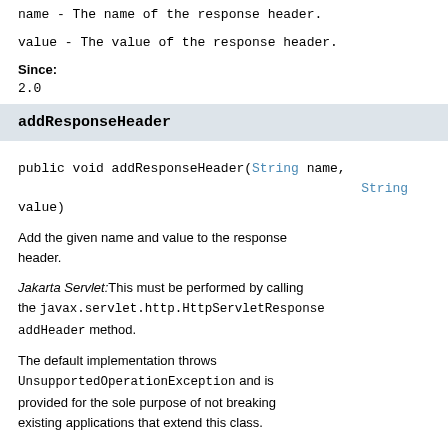name - The name of the response header.
value - The value of the response header.
Since:
2.0
addResponseHeader
public void addResponseHeader(String name, String value)
Add the given name and value to the response header.
Jakarta Servlet: This must be performed by calling the javax.servlet.http.HttpServletResponse addHeader method.
The default implementation throws UnsupportedOperationException and is provided for the sole purpose of not breaking existing applications that extend this class.